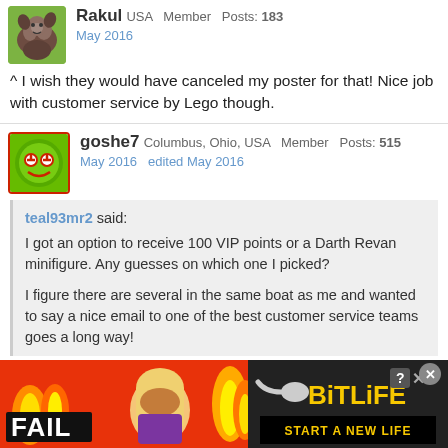Rakul USA  Member  Posts: 183
May 2016
^ I wish they would have canceled my poster for that!  Nice job with customer service by Lego though.
goshe7  Columbus, Ohio, USA  Member  Posts: 515
May 2016  edited May 2016
teal93mr2 said:
I got an option to receive 100 VIP points or a Darth Revan minifigure.  Any guesses on which one I picked?

I figure there are several in the same boat as me and wanted to say a nice email to one of the best customer service teams goes a long way!
I feel terrible for you.  I'd happily trade my poster for the Darth Revan.  Just to help you cope with the loss.  :)
[Figure (screenshot): BitLife advertisement banner with FAIL text, animated character facepalming, flame graphic, BitLife logo with pill icon, and START A NEW LIFE tagline on black bar]